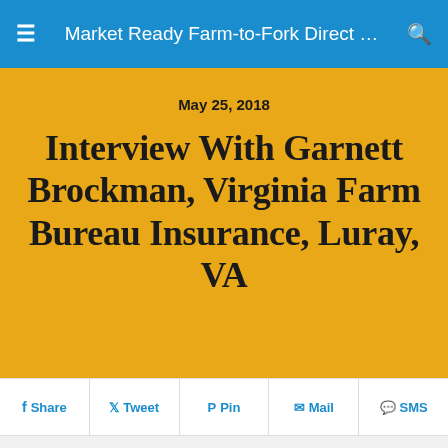Market Ready Farm-to-Fork Direct …
May 25, 2018
Interview With Garnett Brockman, Virginia Farm Bureau Insurance, Luray, VA
Share  Tweet  Pin  Mail  SMS
On Thursday, August 24, Matt Ludwig and I left Blacksburg and headed to Harrisonburg to interview Garnett Brockman, an experienced insurance agent with Virginia Farm Bureau Insurance. Garnett works out of the Luray office, focusing on ag and